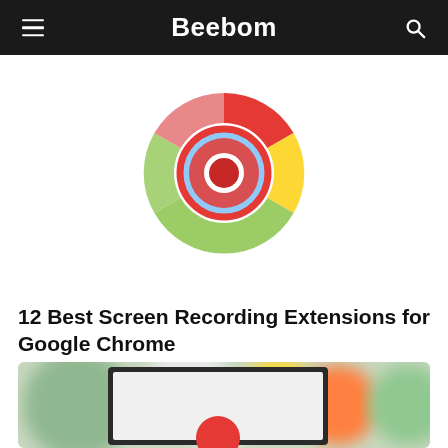Beebom
[Figure (logo): Google Chrome logo with a red record button overlay in the center, displayed on white background]
12 Best Screen Recording Extensions for Google Chrome
[Figure (photo): Blurred colorful background with a laptop screen showing a red record button, partially cropped at the bottom of the page]